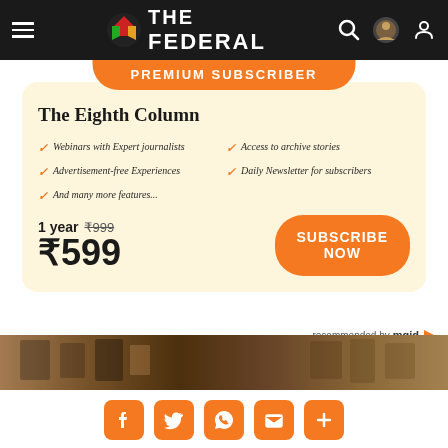THE FEDERAL
PREMIUM SUBSCRIBER
The Eighth Column
Webinars with Expert journalists
Access to archive stories
Advertisement-free Experiences
Daily Newsletter for subscribers
And many more features...
1 year ₹999 ₹599
SUBSCRIBE NOW
recommended by mgid
[Figure (photo): Partial photo strip at bottom of page]
Social share buttons: Facebook, Twitter, WhatsApp, Email, More